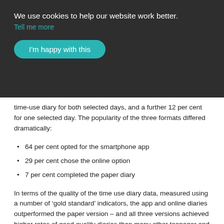We use cookies to help our website work better.
Tell me more
I'm happy with this
time-use diary for both selected days, and a further 12 per cent for one selected day. The popularity of the three formats differed dramatically:
64 per cent opted for the smartphone app
29 per cent chose the online option
7 per cent completed the paper diary
In terms of the quality of the time use diary data, measured using a number of ‘gold standard’ indicators, the app and online diaries outperformed the paper version – and all three versions achieved higher rates of good quality diaries than many other teenager and adult time use surveys.